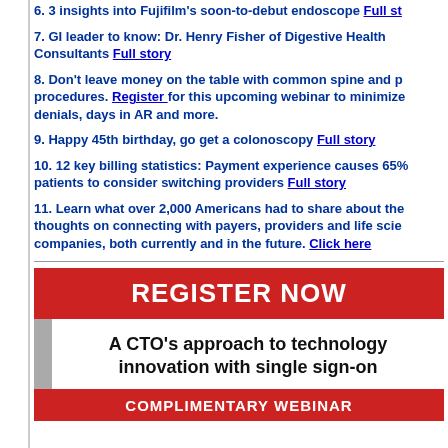6. 3 insights into Fujifilm's soon-to-debut endoscope Full st[ory]
7. GI leader to know: Dr. Henry Fisher of Digestive Health Consultants Full story
8. Don't leave money on the table with common spine and p[ain] procedures. Register for this upcoming webinar to minimize denials, days in AR and more.
9. Happy 45th birthday, go get a colonoscopy Full story
10. 12 key billing statistics: Payment experience causes 65% patients to consider switching providers Full story
11. Learn what over 2,000 Americans had to share about the[ir] thoughts on connecting with payers, providers and life scie[nce] companies, both currently and in the future. Click here
[Figure (infographic): Register Now banner for complimentary webinar: A CTO's approach to technology innovation with single sign-on]